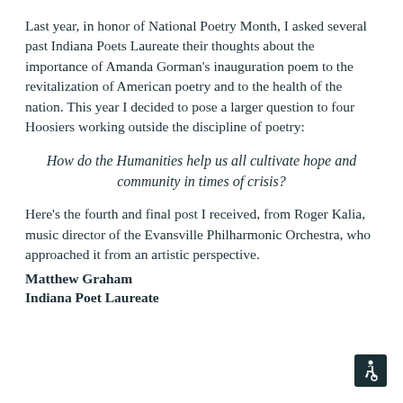Last year, in honor of National Poetry Month, I asked several past Indiana Poets Laureate their thoughts about the importance of Amanda Gorman's inauguration poem to the revitalization of American poetry and to the health of the nation. This year I decided to pose a larger question to four Hoosiers working outside the discipline of poetry:
How do the Humanities help us all cultivate hope and community in times of crisis?
Here's the fourth and final post I received, from Roger Kalia, music director of the Evansville Philharmonic Orchestra, who approached it from an artistic perspective.
Matthew Graham
Indiana Poet Laureate